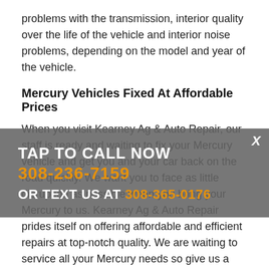problems with the transmission, interior quality over the life of the vehicle and interior noise problems, depending on the model and year of the vehicle.
Mercury Vehicles Fixed At Affordable Prices
When you visit Kearney Ag & Auto Repair, our staff is ready and waiting to fix your Mercury vehicle and get you and your car back on the road quickly. We want you to face as little disruption as possible when you bring your Mercury to us. Kearney Ag & Auto Repair prides itself on offering affordable and efficient repairs at top-notch quality. We are waiting to service all your Mercury needs so give us a call at 308-236-7159 or stop by our service center. Our
TAP TO CALL NOW
308-236-7159
OR TEXT US AT 308-365-0176